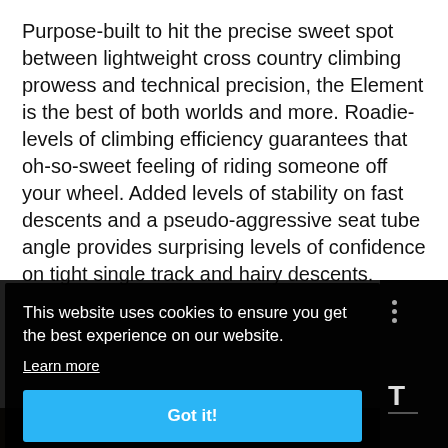Purpose-built to hit the precise sweet spot between lightweight cross country climbing prowess and technical precision, the Element is the best of both worlds and more. Roadie-levels of climbing efficiency guarantees that oh-so-sweet feeling of riding someone off your wheel. Added levels of stability on fast descents and a pseudo-aggressive seat tube angle provides surprising levels of confidence on tight single track and hairy descents.
[Figure (screenshot): Cookie consent banner overlay on a dark background, with 'This website uses cookies to ensure you get the best experience on our website.' text, a 'Learn more' underlined link, and a blue 'Got it!' button. Right side shows partial dark website chrome with three-dot menu icon and letter T.]